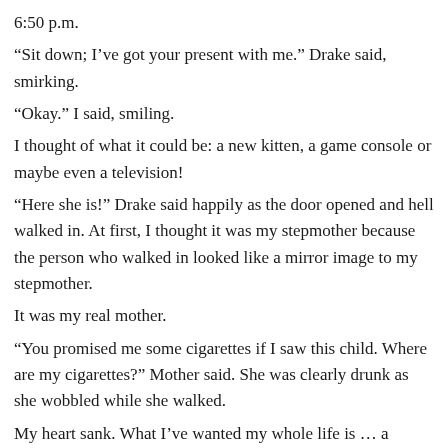6:50 p.m.
“Sit down; I’ve got your present with me.” Drake said, smirking.
“Okay.” I said, smiling.
I thought of what it could be: a new kitten, a game console or maybe even a television!
“Here she is!” Drake said happily as the door opened and hell walked in. At first, I thought it was my stepmother because the person who walked in looked like a mirror image to my stepmother.
It was my real mother.
“You promised me some cigarettes if I saw this child. Where are my cigarettes?” Mother said. She was clearly drunk as she wobbled while she walked.
My heart sank. What I’ve wanted my whole life is … a disaster.